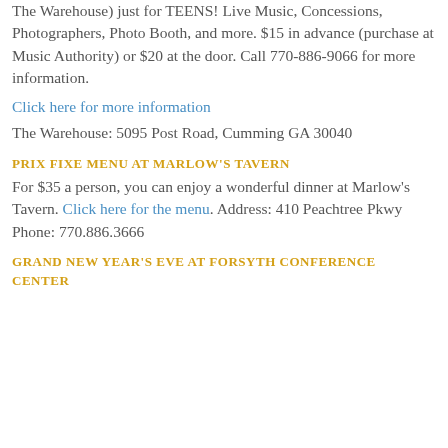The Warehouse) just for TEENS!  Live Music, Concessions, Photographers, Photo Booth, and more.   $15 in advance (purchase at Music Authority) or $20 at the door.   Call 770-886-9066 for more information.
Click here for more information
The Warehouse:  5095 Post Road, Cumming GA 30040
PRIX FIXE MENU AT MARLOW'S TAVERN
For $35 a person, you can enjoy a wonderful dinner at Marlow's Tavern. Click here for the menu. Address: 410 Peachtree Pkwy Phone: 770.886.3666
GRAND NEW YEAR'S EVE AT FORSYTH CONFERENCE CENTER